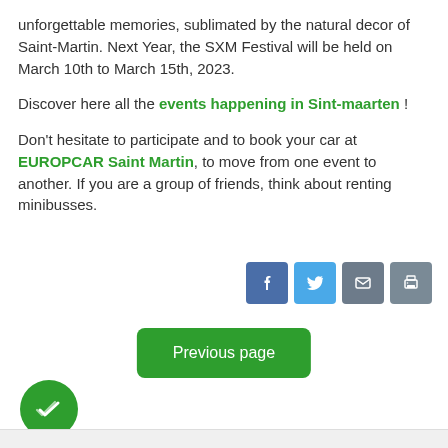unforgettable memories, sublimated by the natural decor of Saint-Martin. Next Year, the SXM Festival will be held on March 10th to March 15th, 2023.
Discover here all the events happening in Sint-maarten !
Don't hesitate to participate and to book your car at EUROPCAR Saint Martin, to move from one event to another. If you are a group of friends, think about renting minibusses.
[Figure (infographic): Four social sharing icons: Facebook (dark blue), Twitter (light blue), Email (gray), Print (gray)]
[Figure (other): Green 'Previous page' button]
[Figure (other): Green circular badge with double checkmark icon at bottom left]